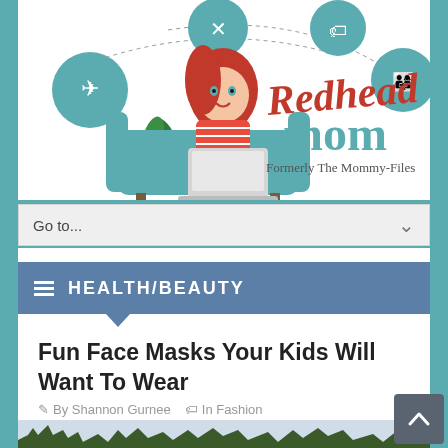[Figure (logo): Redhead Mom blog logo featuring an illustrated red-haired woman sitting in a teal armchair with a laptop, surrounded by teal circular icons (airplane, food/fork and knife, tag, family). Script text reads 'Redhead mom' with subtitle 'Formerly The Mommy-Files']
[Figure (screenshot): Navigation dropdown widget with text 'Go to...' and a chevron/down arrow on the right side, gray background]
HEALTH/BEAUTY
Fun Face Masks Your Kids Will Want To Wear
By Shannon Gurnee   In Fashion
[Figure (photo): Partial view of outdoor photo showing bare winter trees against a sky background]